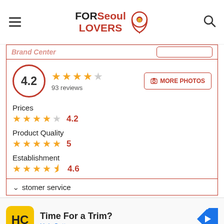FORSeoul LOVERS
[Figure (screenshot): Partial header strip showing business name and button]
[Figure (infographic): Rating section: 4.2 overall score with 93 reviews and 4 gold stars, MORE PHOTOS button. Sub-ratings: Prices 4.2 (4 stars), Product Quality 5 (5 stars), Establishment 4.6 (4.5 stars). Partial customer service row.]
[Figure (screenshot): Advertisement for Hair Cuttery: Time For a Trim? Hair Cuttery. Yellow HC logo and blue navigation arrow icon.]